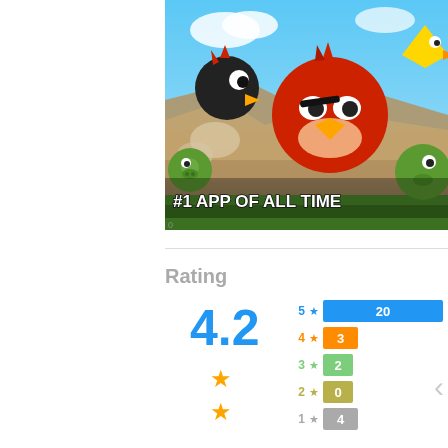[Figure (illustration): Angry Birds game promotional screenshot showing the game characters (red bird, black bird, yellow bird, green pigs) in a rocky landscape with blue sky. Text overlay reads '#1 APP OF ALL TIME']
Rating
[Figure (bar-chart): Rating distribution]